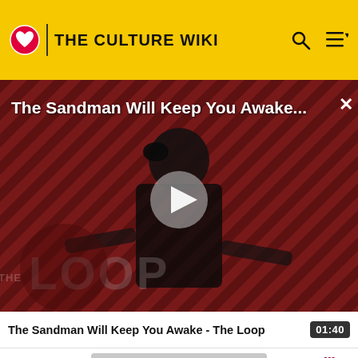THE CULTURE WIKI
[Figure (screenshot): Video thumbnail for 'The Sandman Will Keep You Awake...' showing a dark figure in black against a red diagonal-striped background with The Loop watermark and a play button overlay.]
The Sandman Will Keep You Awake - The Loop  01:40
possibly return to the Real as roughly the same entity.[2]